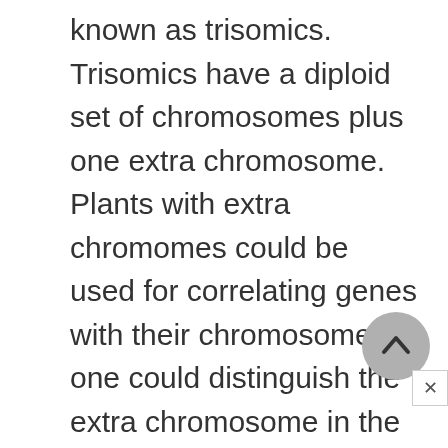known as trisomics. Trisomics have a diploid set of chromosomes plus one extra chromosome. Plants with extra chromes could be used for correlating genes with their chromosomes if one could distinguish the extra chromosome in the microscope. McClintock's continued investigations on the chromosomes of corn led her to devise a technique for distinguishing the plants' ten individual chromosomes.